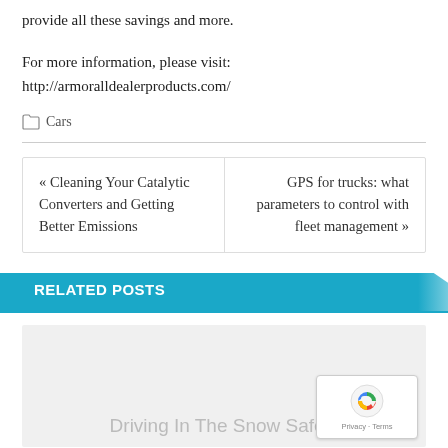provide all these savings and more.
For more information, please visit:
http://armoralldealerproducts.com/
Cars
« Cleaning Your Catalytic Converters and Getting Better Emissions
GPS for trucks: what parameters to control with fleet management »
RELATED POSTS
Driving In The Snow Safely